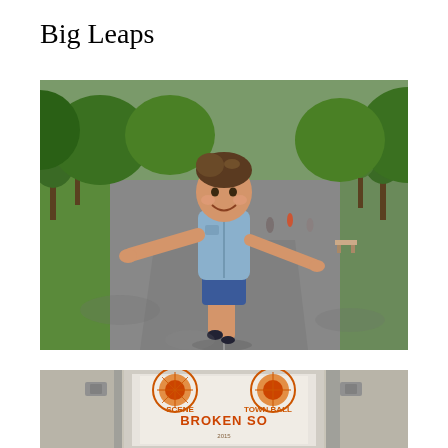Big Leaps
[Figure (photo): A toddler girl wearing a denim sleeveless shirt and jean shorts running/walking with arms outstretched on a park path lined with green trees, smiling at the camera.]
[Figure (photo): Partial view of a framed poster/artwork on a wall, showing colorful text including 'BROKEN SO', 'SCENE', 'TOWN BALL' and other text, in a white frame. The wall appears to be a light colored interior wall.]